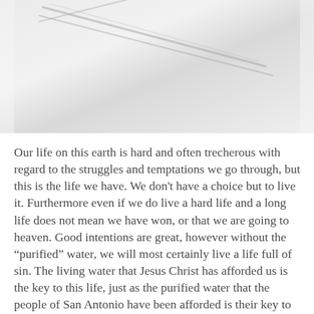[Figure (photo): A light gray abstract or nature photograph, appearing washed out with diagonal lines suggesting a path or natural surface.]
Our life on this earth is hard and often trecherous with regard to the struggles and temptations we go through, but this is the life we have. We don't have a choice but to live it. Furthermore even if we do live a hard life and a long life does not mean we have won, or that we are going to heaven. Good intentions are great, however without the “purified” water, we will most certainly live a life full of sin. The living water that Jesus Christ has afforded us is the key to this life, just as the purified water that the people of San Antonio have been afforded is their key to circumventing illness